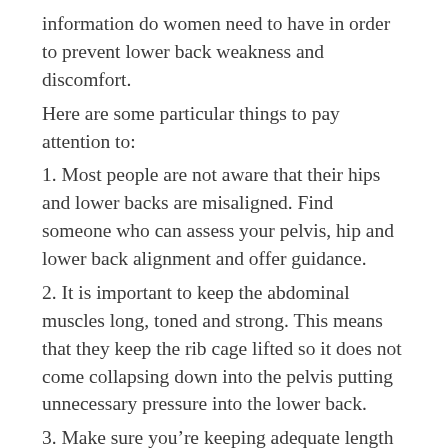information do women need to have in order to prevent lower back weakness and discomfort.
Here are some particular things to pay attention to:
1. Most people are not aware that their hips and lower backs are misaligned. Find someone who can assess your pelvis, hip and lower back alignment and offer guidance.
2. It is important to keep the abdominal muscles long, toned and strong. This means that they keep the rib cage lifted so it does not come collapsing down into the pelvis putting unnecessary pressure into the lower back.
3. Make sure you’re keeping adequate length between your ribs and pelvis in the front, sides and back of your body. Many women expand their front ribs forward during pregnancy to make room for the baby.  This